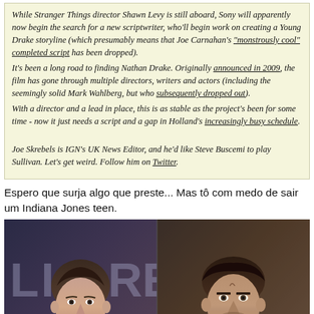While Stranger Things director Shawn Levy is still aboard, Sony will apparently now begin the search for a new scriptwriter, who'll begin work on creating a Young Drake storyline (which presumably means that Joe Carnahan's "monstrously cool" completed script has been dropped). It's been a long road to finding Nathan Drake. Originally announced in 2009, the film has gone through multiple directors, writers and actors (including the seemingly solid Mark Wahlberg, but who subsequently dropped out). With a director and a lead in place, this is as stable as the project's been for some time - now it just needs a script and a gap in Holland's increasingly busy schedule. Joe Skrebels is IGN's UK News Editor, and he'd like Steve Buscemi to play Sullivan. Let's get weird. Follow him on Twitter.
Espero que surja algo que preste... Mas tô com medo de sair um Indiana Jones teen.
[Figure (photo): Side-by-side comparison photo: on the left, a young man (Tom Holland) in a dark suit with white shirt, against a background with partial letters 'LI...RE'; on the right, a video game character (Nathan Drake from Uncharted) rendered realistically, wearing a casual shirt with backpack strap.]